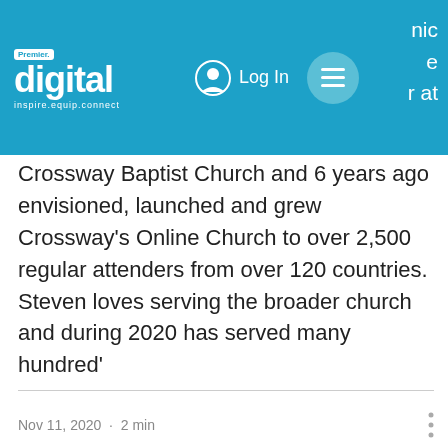[Figure (logo): Premier Digital logo with 'inspire.equip.connect' tagline on blue header bar, with Log In button and hamburger menu]
nic
e
r at
Crossway Baptist Church and 6 years ago envisioned, launched and grew Crossway’s Online Church to over 2,500 regular attenders from over 120 countries. Steven loves serving the broader church and during 2020 has served many hundred’
Nov 11, 2020  ·  2 min